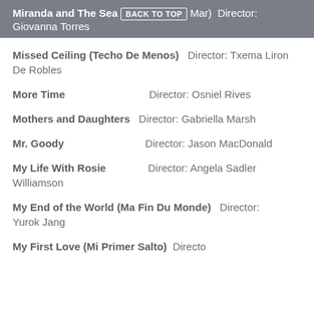Miranda and The Sea (BACK TO TOP Mar) Director: Giovanna Torres
Missed Ceiling (Techo De Menos)   Director: Txema Liron De Robles
More Time   Director: Osniel Rives
Mothers and Daughters   Director: Gabriella Marsh
Mr. Goody   Director: Jason MacDonald
My Life With Rosie   Director: Angela Sadler Williamson
My End of the World (Ma Fin Du Monde)   Director: Yurok Jang
My First Love (Mi Primer Salto)   Director: ...